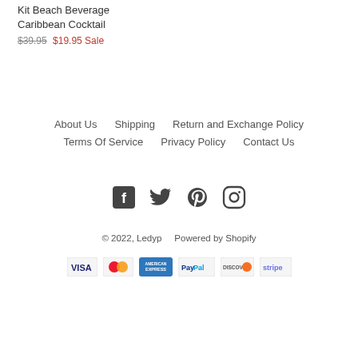Kit Beach Beverage Caribbean Cocktail
$39.95 $19.95 Sale
About Us   Shipping   Return and Exchange Policy   Terms Of Service   Privacy Policy   Contact Us
[Figure (infographic): Social media icons: Facebook, Twitter, Pinterest, Instagram]
© 2022, Ledyp   Powered by Shopify
[Figure (infographic): Payment method icons: VISA, Mastercard, American Express, PayPal, Discover, Stripe]